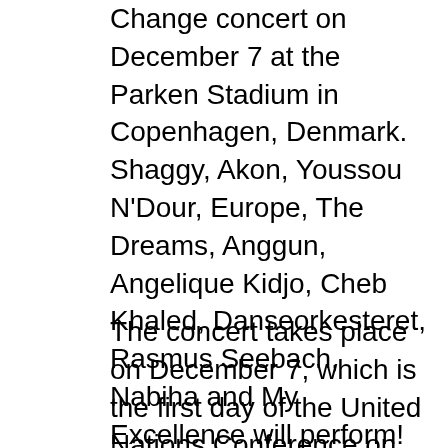Change concert on December 7 at the Parken Stadium in Copenhagen, Denmark. Shaggy, Akon, Youssou N'Dour, Europe, The Dreams, Anggun, Angelique Kidjo, Cheb Khaled, Danseorkesteret, Rasmus Seebach, Nabiha and My Excellence will perform!
The concert takes place on December 7, which is the first day of the United Nations Conference on Climate